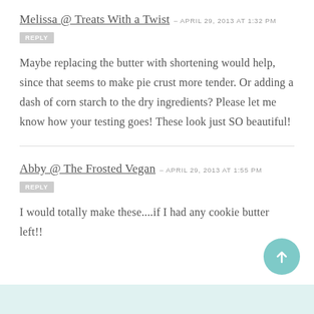Melissa @ Treats With a Twist – APRIL 29, 2013 at 1:32 PM
REPLY
Maybe replacing the butter with shortening would help, since that seems to make pie crust more tender. Or adding a dash of corn starch to the dry ingredients? Please let me know how your testing goes! These look just SO beautiful!
Abby @ The Frosted Vegan – APRIL 29, 2013 at 1:55 PM
REPLY
I would totally make these....if I had any cookie butter left!!